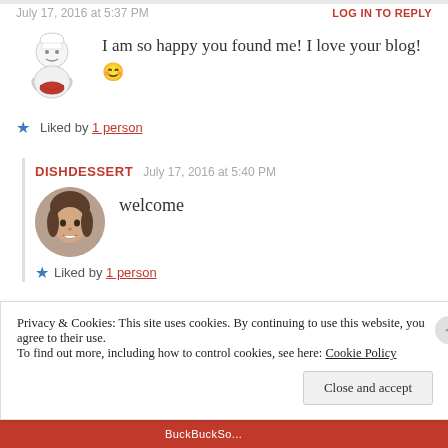July 17, 2016 at 5:37 PM
LOG IN TO REPLY
I am so happy you found me! I love your blog! 😊
★ Liked by 1 person
DISHDESSERT   July 17, 2016 at 5:40 PM
welcome
★ Liked by 1 person
Privacy & Cookies: This site uses cookies. By continuing to use this website, you agree to their use. To find out more, including how to control cookies, see here: Cookie Policy
Close and accept